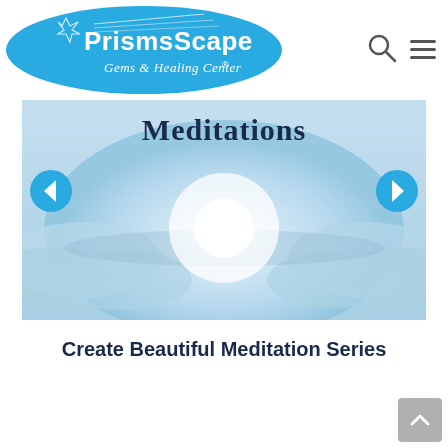[Figure (logo): PrismsScape Gems & Healing Center logo — blue oval with white text and star/rays design]
[Figure (photo): Meditation-themed banner image showing misty blue clouds with a glowing light in the center. The word 'Meditations' appears in dark bold serif font at the top. Navigation arrows (left and right) are overlaid on the sides of the banner.]
Create Beautiful Meditation Series